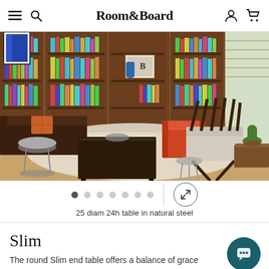Room&Board
[Figure (photo): Living room scene showing a round Slim side table in natural steel, dark leather sofa, wood bookcase wall unit filled with books, an orange accent chair, mid-century modern lounge chair, area rug on light wood floor.]
25 diam 24h table in natural steel
Slim
The round Slim end table offers a balance of grace